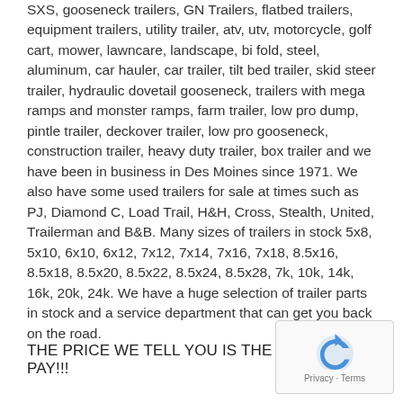SXS, gooseneck trailers, GN Trailers, flatbed trailers, equipment trailers, utility trailer, atv, utv, motorcycle, golf cart, mower, lawncare, landscape, bi fold, steel, aluminum, car hauler, car trailer, tilt bed trailer, skid steer trailer, hydraulic dovetail gooseneck, trailers with mega ramps and monster ramps, farm trailer, low pro dump, pintle trailer, deckover trailer, low pro gooseneck, construction trailer, heavy duty trailer, box trailer and we have been in business in Des Moines since 1971. We also have some used trailers for sale at times such as PJ, Diamond C, Load Trail, H&H, Cross, Stealth, United, Trailerman and B&B. Many sizes of trailers in stock 5x8, 5x10, 6x10, 6x12, 7x12, 7x14, 7x16, 7x18, 8.5x16, 8.5x18, 8.5x20, 8.5x22, 8.5x24, 8.5x28, 7k, 10k, 14k, 16k, 20k, 24k. We have a huge selection of trailer parts in stock and a service department that can get you back on the road.
THE PRICE WE TELL YOU IS THE PRICE YOU PAY!!!
[Figure (other): reCAPTCHA badge with Privacy and Terms links]